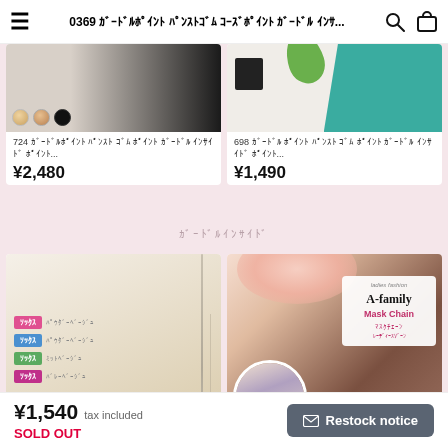0369 ｶﾞｰﾄﾞﾙﾎﾟｲﾝﾄ ﾊﾟﾝｽﾄｺﾞﾑ ｺｰｽﾞﾎﾟｲﾝﾄ ｶﾞｰﾄﾞﾙ ｲﾝｻｲﾄﾞ ﾎﾟｲﾝﾄ ﾊﾟﾝｽﾄ ｶﾞｰﾄﾞﾙ ﾎﾟｲﾝﾄ ｺｰｽﾞ...
[Figure (photo): Product photo: black fabric with beige/black circle color swatches]
724 ｶﾞｰﾄﾞﾙﾎﾟｲﾝﾄ ﾊﾟﾝｽﾄ ｺﾞﾑ ﾎﾟｲﾝﾄ ｶﾞｰﾄﾞﾙ ｲﾝｻｲﾄﾞ ﾎﾟｲﾝﾄ...
¥2,480
[Figure (photo): Product photo: cream/teal color blocked fabric with green leaf and black bag]
698 ｶﾞｰﾄﾞﾙ ﾎﾟｲﾝﾄ ﾊﾟﾝｽﾄ ｺﾞﾑ ﾎﾟｲﾝﾄ ｶﾞｰﾄﾞﾙ ｲﾝｻｲﾄﾞ ﾎﾟｲﾝﾄ...
¥1,490
ｶﾞｰﾄﾞﾙｲﾝｻｲﾄﾞ
[Figure (photo): Product photo: sheer nylon socks in packaging with pink, blue, green labels]
[Figure (photo): Product photo: A-family Mask Chain jewelry product with circle inset showing person wearing mask chain]
¥1,540 tax included
SOLD OUT
✉ Restock notice